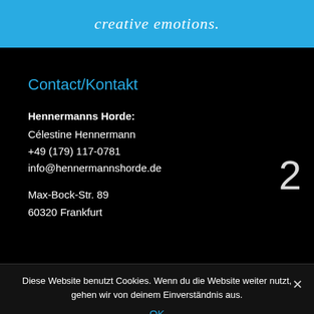creative emotions.
Contact/Kontakt
Hennermanns Horde:
Célestine Hennermann
+49 (179) 117-0781
info@hennermannshorde.de
Max-Bock-Str. 89
60320 Frankfurt
2
Diese Website benutzt Cookies. Wenn du die Website weiter nutzt, gehen wir von deinem Einverständnis aus.
OK